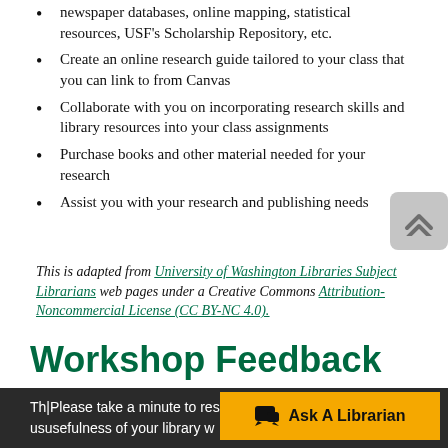newspaper databases, online mapping, statistical resources, USF's Scholarship Repository, etc.
Create an online research guide tailored to your class that you can link to from Canvas
Collaborate with you on incorporating research skills and library resources into your class assignments
Purchase books and other material needed for your research
Assist you with your research and publishing needs
This is adapted from University of Washington Libraries Subject Librarians web pages under a Creative Commons Attribution-Noncommercial License (CC BY-NC 4.0).
Workshop Feedback
Please take a minute to res... usefulness of your library w...